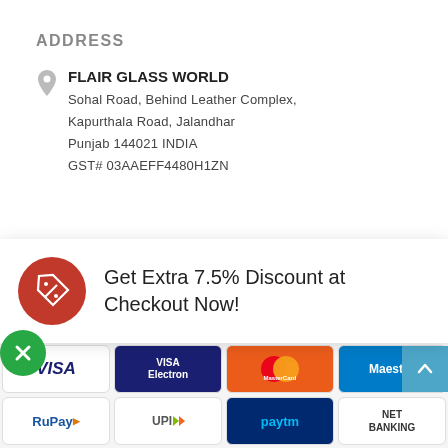ADDRESS
FLAIR GLASS WORLD
Sohal Road, Behind Leather Complex,
Kapurthala Road, Jalandhar
Punjab 144021 INDIA
GST# 03AAEFF4480H1ZN
CONTACT
Call: 0181-462-3295
Email: sales@flairglass.in
Whatsapp: +91-807-003-7003
Get Extra 7.5% Discount at Checkout Now!
[Figure (other): Payment method logos: VISA, VISA Electron, MasterCard, Maestro, RuPay, UPI, Paytm, NET BANKING]